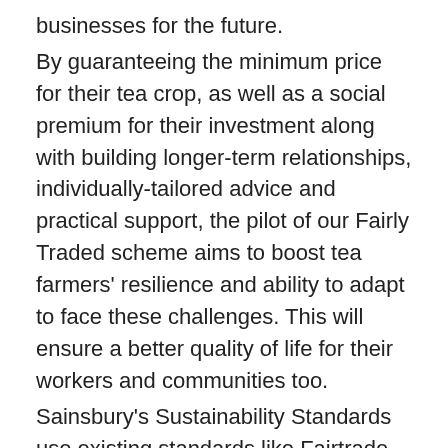businesses for the future. By guaranteeing the minimum price for their tea crop, as well as a social premium for their investment along with building longer-term relationships, individually-tailored advice and practical support, the pilot of our Fairly Traded scheme aims to boost tea farmers' resilience and ability to adapt to face these challenges. This will ensure a better quality of life for their workers and communities too. Sainsbury's Sustainability Standards use existing standards like Fairtrade as their base, but add to this starting point incremental enhancements that fill the gaps in these existing schemes to ensure we and our suppliers, farmers and growers are addressing all of the important Ethical, Economic and Environmental issues. I would like to confirm we are the biggest Fairtrade retailer in the world and will continue to be so. Even without tea,